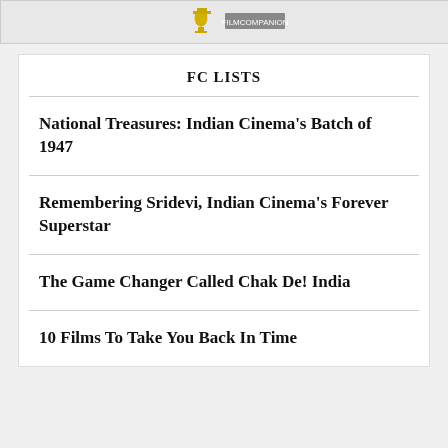[Figure (other): Top banner with trophy/award icon and partial logo image]
FC LISTS
National Treasures: Indian Cinema's Batch of 1947
Remembering Sridevi, Indian Cinema's Forever Superstar
The Game Changer Called Chak De! India
10 Films To Take You Back In Time